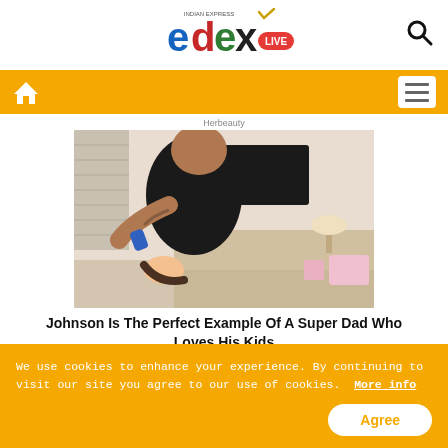[Figure (logo): EdexLive logo by Indian Express with colorful letters e, d, e, x and LIVE badge]
[Figure (photo): A large muscular bald man (Dwayne Johnson) brushing the hair of a small child in a bedroom]
Johnson Is The Perfect Example Of A Super Dad Who Loves His Kids
[Figure (photo): Partial image of a person with green and black hair]
We use cookies to enhance your experience. By continuing to visit our site you agree to our use of cookies. More info